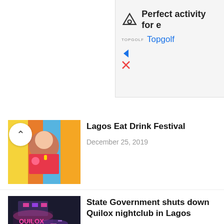[Figure (screenshot): Topgolf advertisement banner with logo, tagline 'Perfect activity for e', brand name 'Topgolf' in blue, and navigation/close icons]
[Figure (photo): Woman in colorful dress smiling, associated with Lagos Eat Drink Festival article]
Lagos Eat Drink Festival
December 25, 2019
[Figure (photo): Nightclub exterior lit in pink/purple lights, associated with Quilox nightclub article]
State Government shuts down Quilox nightclub in Lagos
December 23, 2019
[Figure (photo): Portrait of Uzo Aduba smiling, associated with Americanah series article]
Uzo Aduba will play 'Aunty Uju' in upcoming Americanah series
December 19, 2019
[Figure (photo): Red apple on fruit background, associated with 'You need TWO apples' article]
You need TWO apples a day not one to keep the doctor away